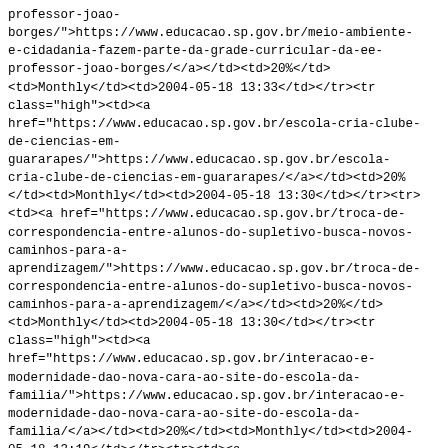professor-joao-borges/">https://www.educacao.sp.gov.br/meio-ambiente-e-cidadania-fazem-parte-da-grade-curricular-da-ee-professor-joao-borges/</a></td><td>20%</td><td>Monthly</td><td>2004-05-18 13:33</td></tr><tr class="high"><td><a href="https://www.educacao.sp.gov.br/escola-cria-clube-de-ciencias-em-guararapes/">https://www.educacao.sp.gov.br/escola-cria-clube-de-ciencias-em-guararapes/</a></td><td>20%</td><td>Monthly</td><td>2004-05-18 13:30</td></tr><tr><td><a href="https://www.educacao.sp.gov.br/troca-de-correspondencia-entre-alunos-do-supletivo-busca-novos-caminhos-para-a-aprendizagem/">https://www.educacao.sp.gov.br/troca-de-correspondencia-entre-alunos-do-supletivo-busca-novos-caminhos-para-a-aprendizagem/</a></td><td>20%</td><td>Monthly</td><td>2004-05-18 13:30</td></tr><tr class="high"><td><a href="https://www.educacao.sp.gov.br/interacao-e-modernidade-dao-nova-cara-ao-site-do-escola-da-familia/">https://www.educacao.sp.gov.br/interacao-e-modernidade-dao-nova-cara-ao-site-do-escola-da-familia/</a></td><td>20%</td><td>Monthly</td><td>2004-05-18 13:19</td></tr><tr><td><a href="https://www.educacao.sp.gov.br/secretaria-estadual-da-educacao-convoca-professores-aprovados-em-concurso/">https://www.educacao.sp.gov.br/secretaria-estadual-da-educacao-convoca-professores-aprovados-em-concurso/</a></td><td>20%</td><td>Monthly</td><td>2004-